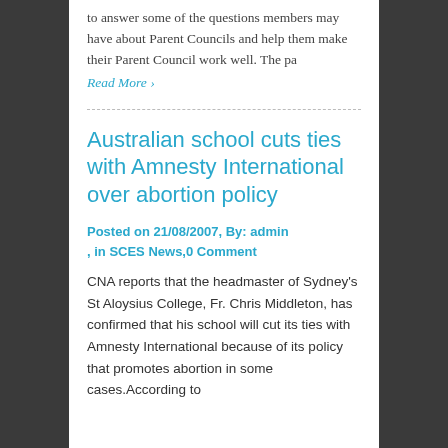to answer some of the questions members may have about Parent Councils and help them make their Parent Council work well. The pa
Read More >
Australian school cuts ties with Amnesty International over abortion policy
Posted on 21/08/2007, By: admin , in SCES News,0 Comment
CNA reports that the headmaster of Sydney's St Aloysius College, Fr. Chris Middleton, has confirmed that his school will cut its ties with Amnesty International because of its policy that promotes abortion in some cases.According to